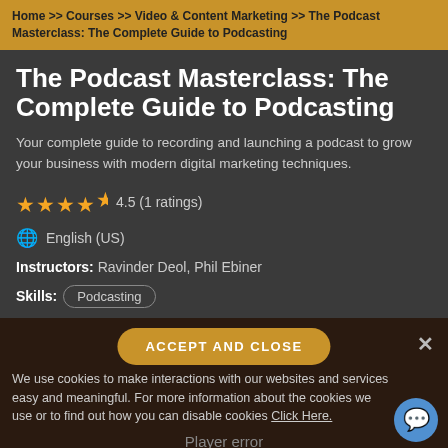Home >> Courses >> Video & Content Marketing >> The Podcast Masterclass: The Complete Guide to Podcasting
The Podcast Masterclass: The Complete Guide to Podcasting
Your complete guide to recording and launching a podcast to grow your business with modern digital marketing techniques.
4.5 (1 ratings)
English (US)
Instructors: Ravinder Deol, Phil Ebiner
Skills: Podcasting
ACCEPT AND CLOSE
We use cookies to make interactions with our websites and services easy and meaningful. For more information about the cookies we use or to find out how you can disable cookies Click Here.
Player error